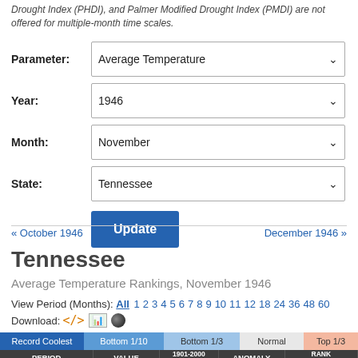Drought Index (PHDI), and Palmer Modified Drought Index (PMDI) are not offered for multiple-month time scales.
Parameter: Average Temperature
Year: 1946
Month: November
State: Tennessee
Update
« October 1946    December 1946 »
Tennessee
Average Temperature Rankings, November 1946
View Period (Months): All 1 2 3 4 5 6 7 8 9 10 11 12 18 24 36 48 60
Download:
| PERIOD | VALUE | 1901-2000 MEAN | ANOMALY | RANK (1895-2021) | WA |
| --- | --- | --- | --- | --- | --- |